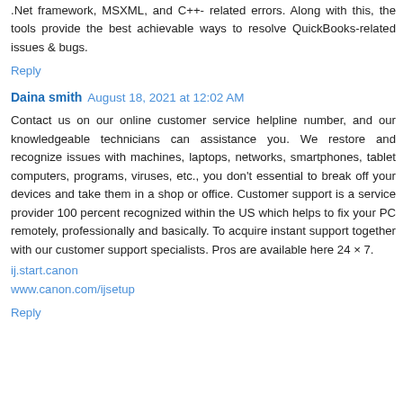.Net framework, MSXML, and C++- related errors. Along with this, the tools provide the best achievable ways to resolve QuickBooks-related issues & bugs.
Reply
Daina smith  August 18, 2021 at 12:02 AM
Contact us on our online customer service helpline number, and our knowledgeable technicians can assistance you. We restore and recognize issues with machines, laptops, networks, smartphones, tablet computers, programs, viruses, etc., you don't essential to break off your devices and take them in a shop or office. Customer support is a service provider 100 percent recognized within the US which helps to fix your PC remotely, professionally and basically. To acquire instant support together with our customer support specialists. Pros are available here 24 × 7.
ij.start.canon
www.canon.com/ijsetup
Reply